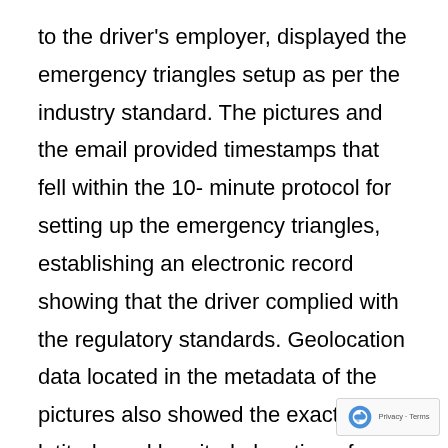to the driver's employer, displayed the emergency triangles setup as per the industry standard. The pictures and the email provided timestamps that fell within the 10- minute protocol for setting up the emergency triangles, establishing an electronic record showing that the driver complied with the regulatory standards. Geolocation data located in the metadata of the pictures also showed the exact latitude and longitude location of where the pictures were taken. In another case, a drunk driver was found deceased after crashing his vehicle into a guardrail. Friends of the driver said that when he left the bar, he did not a[ppear] to be intoxicated. A data extraction conducted o[n...]